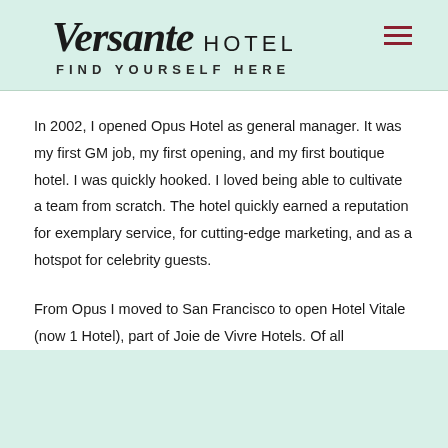Versante HOTEL — FIND YOURSELF HERE
In 2002, I opened Opus Hotel as general manager. It was my first GM job, my first opening, and my first boutique hotel. I was quickly hooked. I loved being able to cultivate a team from scratch. The hotel quickly earned a reputation for exemplary service, for cutting-edge marketing, and as a hotspot for celebrity guests.
From Opus I moved to San Francisco to open Hotel Vitale (now 1 Hotel), part of Joie de Vivre Hotels. Of all